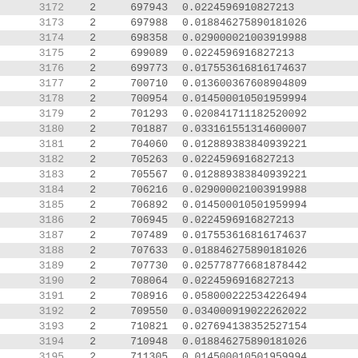| index | col1 | col2 | col3 |
| --- | --- | --- | --- |
| 3172 | 2 | 697943 | 0.0224596910827213 |
| 3173 | 2 | 697988 | 0.018846275890181026 |
| 3174 | 2 | 698358 | 0.0290000210039199888 |
| 3175 | 2 | 699089 | 0.0224596916827213 |
| 3176 | 2 | 699773 | 0.017553616816174637 |
| 3177 | 2 | 700710 | 0.013600367608904809 |
| 3178 | 2 | 700954 | 0.014500010501959994 |
| 3179 | 2 | 701293 | 0.020841711182520092 |
| 3180 | 2 | 701887 | 0.0331615513146007 |
| 3181 | 2 | 704060 | 0.012889383840939221 |
| 3182 | 2 | 705263 | 0.0224596916827213 |
| 3183 | 2 | 705567 | 0.012889383840939221 |
| 3184 | 2 | 706216 | 0.029000021003919988 |
| 3185 | 2 | 706892 | 0.014500010501959994 |
| 3186 | 2 | 706945 | 0.0224596916827213 |
| 3187 | 2 | 707489 | 0.01755361681674637 |
| 3188 | 2 | 707633 | 0.018846275890181026 |
| 3189 | 2 | 707730 | 0.025778776681878442 |
| 3190 | 2 | 708064 | 0.0224596916827213 |
| 3191 | 2 | 708916 | 0.058000222534226494 |
| 3192 | 2 | 709550 | 0.034000919022262022 |
| 3193 | 2 | 710821 | 0.027694138352754 |
| 3194 | 2 | 710948 | 0.018846275890181026 |
| 3195 | 2 | 711305 | 0.014500010501959994 |
| 3196 | 2 | 712019 | 0.018846275890181026 |
| 3197 | 2 | 712872 | 0.01755361681674637 |
| 3198 | 2 | 713013 | 0.020841711182520092 |
| 3199 | 2 | 713234 | 0.014500010501959994 |
| 3200 | 2 | 713474 | 0.013600367608904800 |